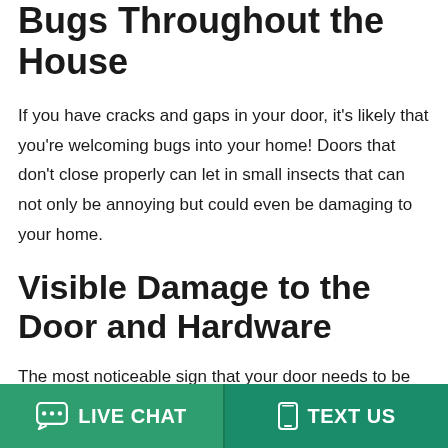Bugs Throughout the House
If you have cracks and gaps in your door, it's likely that you're welcoming bugs into your home! Doors that don't close properly can let in small insects that can not only be annoying but could even be damaging to your home.
Visible Damage to the Door and Hardware
The most noticeable sign that your door needs to be replaced is visible damage. Knicks and dings are one thing, but damage to latches and hinges cracking or rusting will only get worse if they're not replaced. If your door's
LIVE CHAT   TEXT US